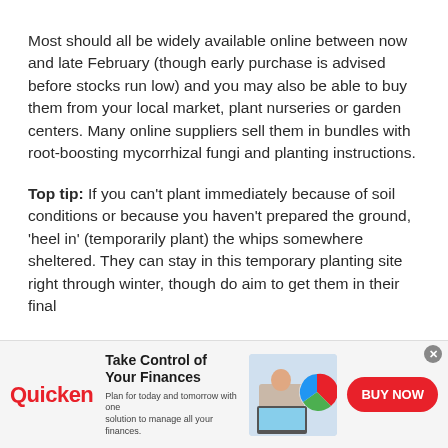Most should all be widely available online between now and late February (though early purchase is advised before stocks run low) and you may also be able to buy them from your local market, plant nurseries or garden centers. Many online suppliers sell them in bundles with root-boosting mycorrhizal fungi and planting instructions.
Top tip: If you can't plant immediately because of soil conditions or because you haven't prepared the ground, 'heel in' (temporarily plant) the whips somewhere sheltered. They can stay in this temporary planting site right through winter, though do aim to get them in their final
[Figure (infographic): Advertisement banner for Quicken financial software. Shows Quicken logo in red, headline 'Take Control of Your Finances', subtext 'Plan for today and tomorrow with one solution to manage all your finances.', an image of a woman at a laptop with a colorful pie chart, and a red 'BUY NOW' button.]